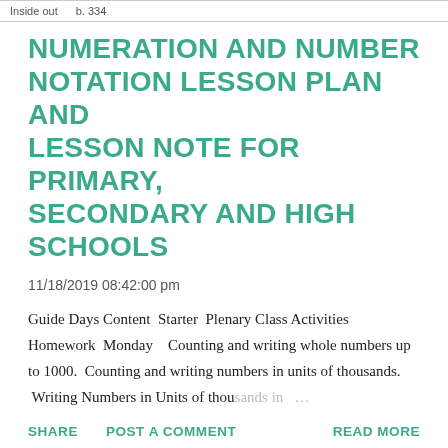Inside out    b. 334
NUMERATION AND NUMBER NOTATION LESSON PLAN AND LESSON NOTE FOR PRIMARY, SECONDARY AND HIGH SCHOOLS
11/18/2019 08:42:00 pm
Guide Days Content  Starter  Plenary Class Activities Homework  Monday   Counting and writing whole numbers up to 1000.  Counting and writing numbers in units of thousands.  Writing Numbers in Units of thousands in …
SHARE   POST A COMMENT   READ MORE